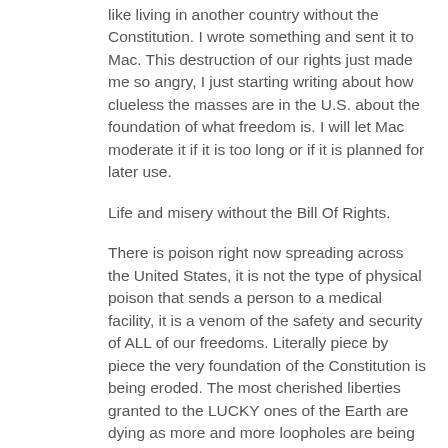like living in another country without the Constitution. I wrote something and sent it to Mac. This destruction of our rights just made me so angry, I just starting writing about how clueless the masses are in the U.S. about the foundation of what freedom is. I will let Mac moderate it if it is too long or if it is planned for later use.
Life and misery without the Bill Of Rights.
There is poison right now spreading across the United States, it is not the type of physical poison that sends a person to a medical facility, it is a venom of the safety and security of ALL of our freedoms. Literally piece by piece the very foundation of the Constitution is being eroded. The most cherished liberties granted to the LUCKY ones of the Earth are dying as more and more loopholes are being punched into those laws of the land that gave us independence yesterday, today, and for the future.